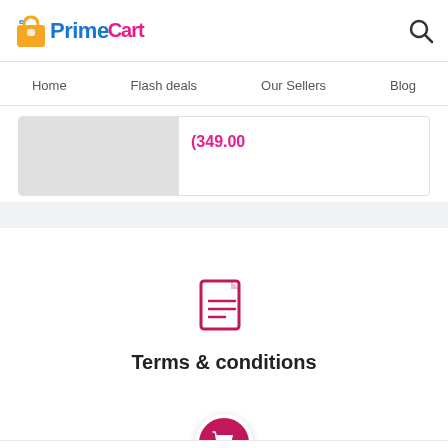[Figure (logo): ePrimeCart logo with shopping bag icon, blue 'Prime' text and pink 'Cart' script text]
Home  Flash deals  Our Sellers  Blog
[Figure (screenshot): Partial product card showing a gray image placeholder on the left and a pink price text '(349.00' on the right]
Terms & conditions
Home  Categories  Cart (0)  Notifications  Account